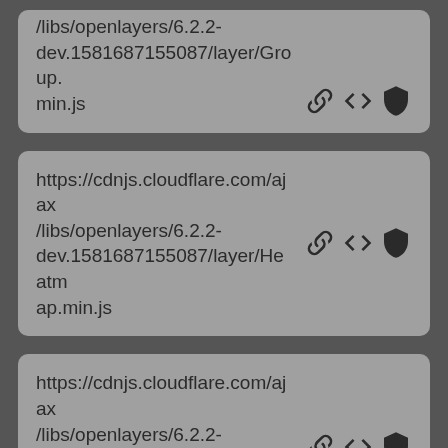/libs/openlayers/6.2.2-dev.1581687155087/layer/Group.min.js
https://cdnjs.cloudflare.com/ajax/libs/openlayers/6.2.2-dev.1581687155087/layer/Heatmap.min.js
https://cdnjs.cloudflare.com/ajax/libs/openlayers/6.2.2-dev.1581687155087/layer/Image.min.js
https://cdnjs.cloudflare.com/ajax/libs/openlayers/6.2.2-dev.1581687155087/layer/Layer.min.js